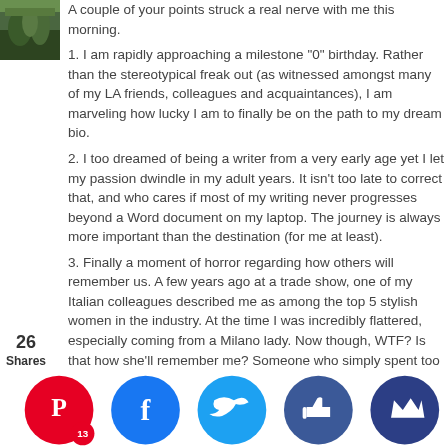[Figure (photo): Small avatar photo showing a forested/outdoor scene with dark green trees]
A couple of your points struck a real nerve with me this morning.
1. I am rapidly approaching a milestone "0" birthday. Rather than the stereotypical freak out (as witnessed amongst many of my LA friends, colleagues and acquaintances), I am marveling how lucky I am to finally be on the path to my dream bio.
2. I too dreamed of being a writer from a very early age yet I let my passion dwindle in my adult years. It isn't too late to correct that, and who cares if most of my writing never progresses beyond a Word document on my laptop. The journey is always more important than the destination (for me at least).
3. Finally a moment of horror regarding how others will remember us. A few years ago at a trade show, one of my Italian colleagues described me as among the top 5 stylish women in the industry. At the time I was incredibly flattered, especially coming from a Milano lady. Now though, WTF? Is that how she'll remember me? Someone who simply spent too much money on Theory dresses? At the time I thought I was sp...mone...nething...attered...fully p...nd fut...is sign...less so...l (and
26 Shares
[Figure (infographic): Social sharing bar with Pinterest (red, count 13), Facebook (blue), Twitter (cyan), Thumbs up (dark blue), Crown (navy) circular buttons]